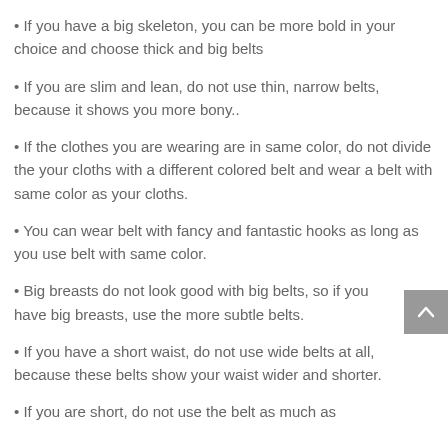If you have a big skeleton, you can be more bold in your choice and choose thick and big belts
If you are slim and lean, do not use thin, narrow belts, because it shows you more bony..
If the clothes you are wearing are in same color, do not divide the your cloths with a different colored belt and wear a belt with same color as your cloths.
You can wear belt with fancy and fantastic hooks as long as you use belt with same color.
Big breasts do not look good with big belts, so if you have big breasts, use the more subtle belts.
If you have a short waist, do not use wide belts at all, because these belts show your waist wider and shorter.
If you are short, do not use the belt as much as